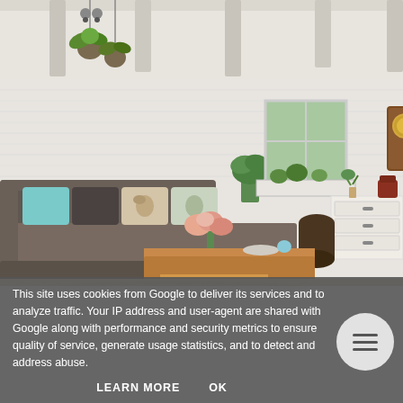[Figure (photo): Interior photograph of a cozy living room with a large L-shaped gray sofa with decorative pillows, a wooden coffee table with pink roses and decorative items, white brick walls, hanging plants, a wooden wall clock, a white dresser, and exposed beam ceiling with pendant lights.]
This site uses cookies from Google to deliver its services and to analyze traffic. Your IP address and user-agent are shared with Google along with performance and security metrics to ensure quality of service, generate usage statistics, and to detect and address abuse.
LEARN MORE   OK